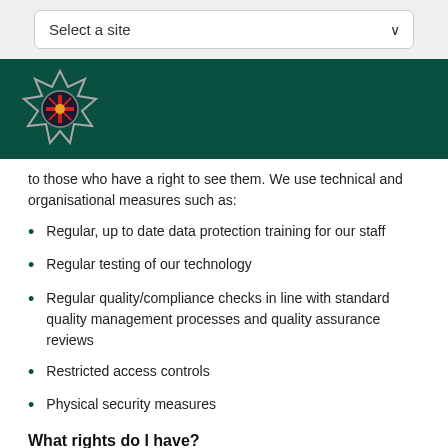Select a site
[Figure (logo): Police Service of Northern Ireland badge/crest logo on dark teal header bar]
to those who have a right to see them. We use technical and organisational measures such as:
Regular, up to date data protection training for our staff
Regular testing of our technology
Regular quality/compliance checks in line with standard quality management processes and quality assurance reviews
Restricted access controls
Physical security measures
What rights do I have?
If you are someone whose personal data is held by us as data